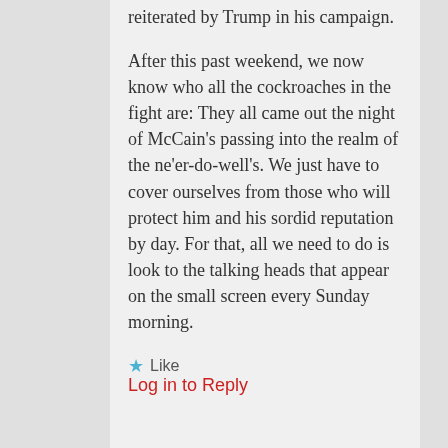made in 2006, a promise that was reiterated by Trump in his campaign.
After this past weekend, we now know who all the cockroaches in the fight are: They all came out the night of McCain’s passing into the realm of the ne’er-do-well’s. We just have to cover ourselves from those who will protect him and his sordid reputation by day. For that, all we need to do is look to the talking heads that appear on the small screen every Sunday morning.
★ Like
Log in to Reply